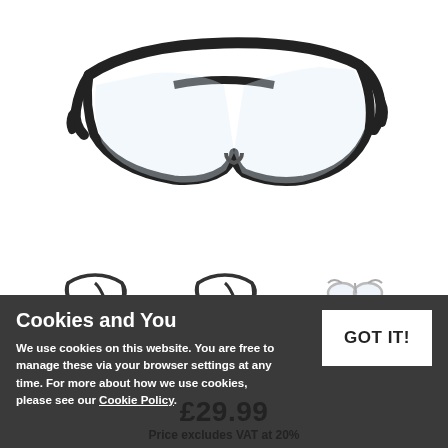[Figure (photo): Safety glasses / protective eyewear with black frames and clear lenses, shown from a slightly elevated angle against a white background.]
[Figure (photo): Thumbnail strip showing three small product images of safety glasses variants.]
Cookies and You
We use cookies on this website. You are free to manage these via your browser settings at any time. For more about how we use cookies, please see our Cookie Policy.
GOT IT!
£29.99
Price excludes VAT at 20%